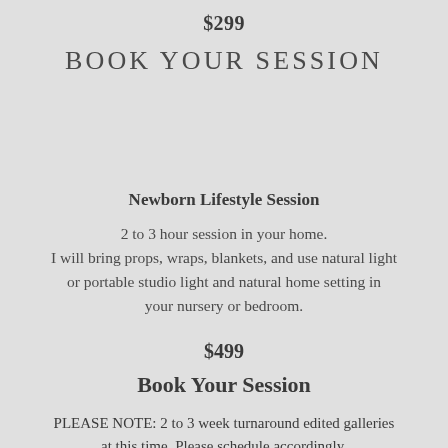$299
BOOK YOUR SESSION
Newborn Lifestyle Session
2 to 3 hour session in your home.
I will bring props, wraps, blankets, and use natural light or portable studio light and natural home setting in your nursery or bedroom.
$499
Book Your Session
PLEASE NOTE:  2 to 3 week turnaround edited galleries at this time.  Please schedule accordingly.